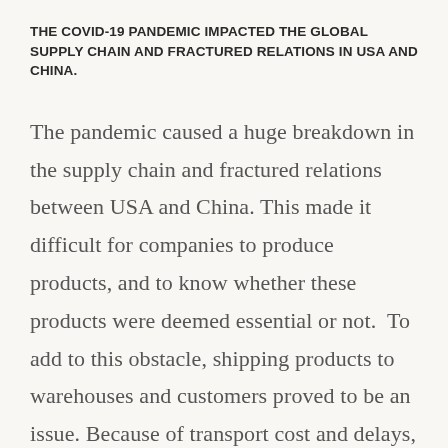THE COVID-19 PANDEMIC IMPACTED THE GLOBAL SUPPLY CHAIN AND FRACTURED RELATIONS IN USA AND CHINA.
The pandemic caused a huge breakdown in the supply chain and fractured relations between USA and China. This made it difficult for companies to produce products, and to know whether these products were deemed essential or not.  To add to this obstacle, shipping products to warehouses and customers proved to be an issue. Because of transport cost and delays, manufacturers had to order much larger volumes at once to fill complete containers and